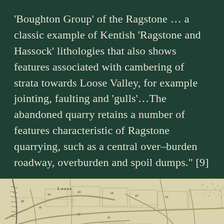'Boughton Group' of the Ragstone … a classic example of Kentish 'Ragstone and Hassock' lithologies that also shows features associated with cambering of strata towards Loose Valley, for example jointing, faulting and 'gulls'…The abandoned quarry retains a number of features characteristic of Ragstone quarrying, such as a central over–burden roadway, overburden and spoil dumps." [9]
[Figure (map): Historical ordnance survey map showing the area around Loose village, with roads, field boundaries, and topographic features visible. The word 'Loose' is visible near the top left of the map.]